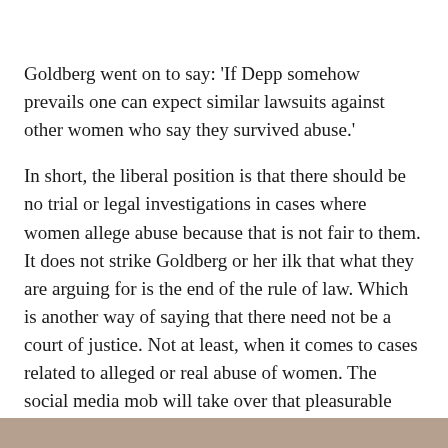Goldberg went on to say: 'If Depp somehow prevails one can expect similar lawsuits against other women who say they survived abuse.'
In short, the liberal position is that there should be no trial or legal investigations in cases where women allege abuse because that is not fair to them. It does not strike Goldberg or her ilk that what they are arguing for is the end of the rule of law. Which is another way of saying that there need not be a court of justice. Not at least, when it comes to cases related to alleged or real abuse of women. The social media mob will take over that pleasurable duty.